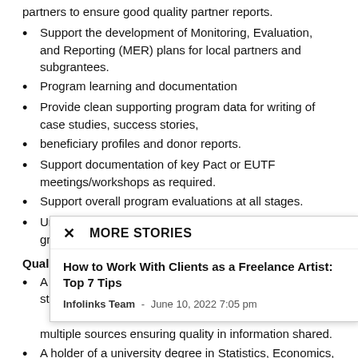partners to ensure good quality partner reports.
Support the development of Monitoring, Evaluation, and Reporting (MER) plans for local partners and subgrantees.
Program learning and documentation
Provide clean supporting program data for writing of case studies, success stories,
beneficiary profiles and donor reports.
Support documentation of key Pact or EUTF meetings/workshops as required.
Support overall program evaluations at all stages.
Undertake evaluations of supported projects to facilitate grant close-outs a
Qualifications
A critical ... streamline la ... multiple sources ensuring quality in information shared.
A holder of a university degree in Statistics, Economics,
[Figure (screenshot): Popup overlay showing 'MORE STORIES' with article title 'How to Work With Clients as a Freelance Artist: Top 7 Tips' by Infolinks Team, June 10, 2022 7:05 pm]